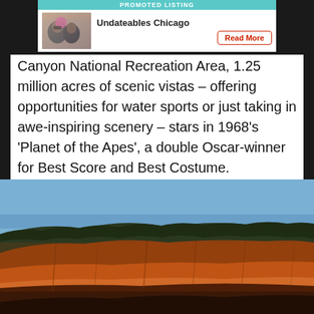[Figure (infographic): Promoted listing ad banner with photo of people, title 'Undateables Chicago', and a red 'Read More' button on a teal/cyan header labeled 'PROMOTED LISTING']
Canyon National Recreation Area, 1.25 million acres of scenic vistas – offering opportunities for water sports or just taking in awe-inspiring scenery – stars in 1968's 'Planet of the Apes', a double Oscar-winner for Best Score and Best Costume.
[Figure (photo): Photograph of red rock canyon cliffs with dark green tree-covered slopes against a clear blue sky, taken at sunset or dusk giving warm reddish-orange lighting to the rock formations.]